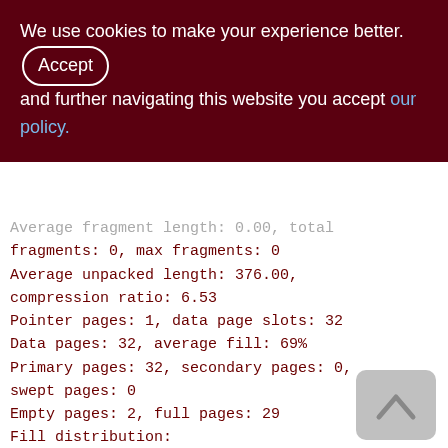We use cookies to make your experience better. By accepting and further navigating this website you accept our policy.
Average fragment length: 0.00, total fragments: 0, max fragments: 0
Average unpacked length: 376.00, compression ratio: 6.53
Pointer pages: 1, data page slots: 32
Data pages: 32, average fill: 69%
Primary pages: 32, secondary pages: 0, swept pages: 0
Empty pages: 2, full pages: 29
Fill distribution:
0 - 19% = 3
20 - 39% = 0
40 - 59% = 0